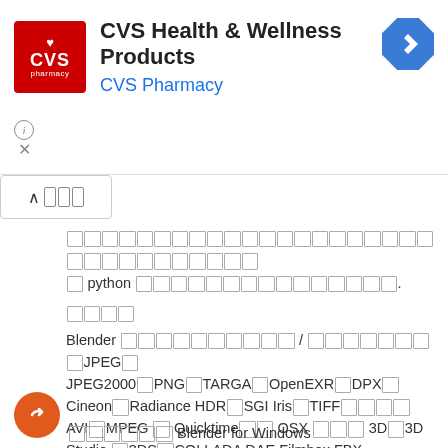[Figure (screenshot): CVS Health & Wellness Products advertisement banner with CVS Pharmacy logo (red square with heart and CVS text), title text, blue navigation diamond icon, info circle and X close button]
[tofu characters] python [tofu characters].
[tofu characters]
Blender [tofu] / [tofu]JPEG[tofu] JPEG2000[tofu]PNG[tofu]TARGA[tofu]OpenEXR[tofu]DPX[tofu] Cineon[tofu]Radiance HDR[tofu]SGI Iris[tofu]TIFF[tofu][tofu][tofu] AVI[tofu]MPEG[tofu]Quicktime[tofu][tofu]OSX[tofu][tofu][tofu]3D[tofu]3D Studio[tofu]3DS[tofu]COLLADA DAE Filmbox FBX Autodesk DXF Wavefront OBJ DirectX x Lightwave LWO[tofu][tofu][tofu][tofu]BVH SVG[tofu][tofu][tofu]PLY STL[tofu]VRML[tofu]VRML97[tofu]X3D.
[tofu][tofu][tofu][tofu][tofu][tofu] Blender for Windows